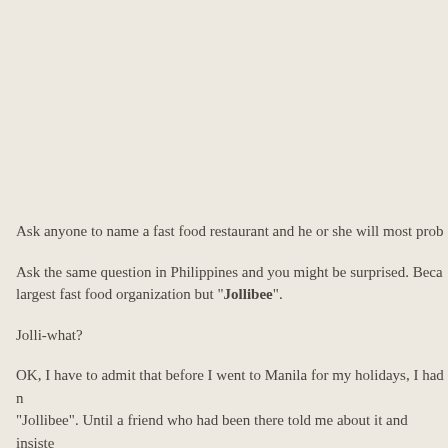Ask anyone to name a fast food restaurant and he or she will most prob
Ask the same question in Philippines and you might be surprised. Beca largest fast food organization but "Jollibee".
Jolli-what?
OK, I have to admit that before I went to Manila for my holidays, I had n "Jollibee". Until a friend who had been there told me about it and insiste
Now I am not a very big fan of burgers. Heck! I don't even eat McDonal tasted plastic-ky and highly processed to me! On rare occasions, I woul Egg McMuffin. And most of the time, I go to McDonald's just for its sund